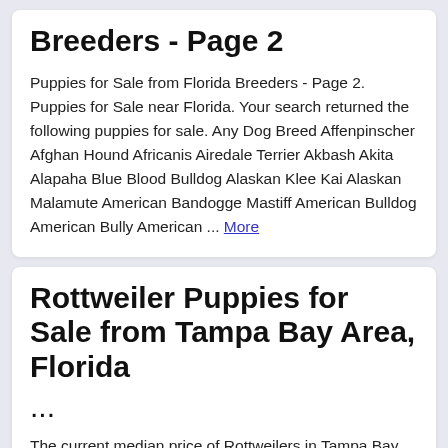Breeders - Page 2
Puppies for Sale from Florida Breeders - Page 2. Puppies for Sale near Florida. Your search returned the following puppies for sale. Any Dog Breed Affenpinscher Afghan Hound Africanis Airedale Terrier Akbash Akita Alapaha Blue Blood Bulldog Alaskan Klee Kai Alaskan Malamute American Bandogge Mastiff American Bulldog American Bully American ... More
Rottweiler Puppies for Sale from Tampa Bay Area, Florida ...
The current median price of Rottweilers in Tampa Bay Area is $1,200.00. This is the price you can expect to pay for the Rottweiler breed...